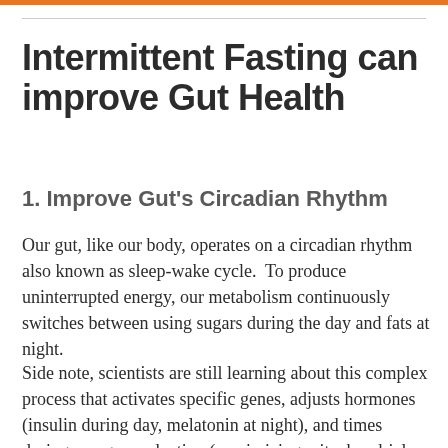Intermittent Fasting can improve Gut Health
1. Improve Gut's Circadian Rhythm
Our gut, like our body, operates on a circadian rhythm also known as sleep-wake cycle.  To produce uninterrupted energy, our metabolism continuously switches between using sugars during the day and fats at night.
Side note, scientists are still learning about this complex process that activates specific genes, adjusts hormones (insulin during day, melatonin at night), and times during energy production (maximizing mitochondrial activity). [9]